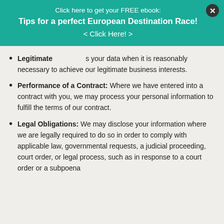Click here to get your FREE ebook:
Tips for a perfect European Destination Race!
< Click Here! >
Legitimate [interest: allows us to process] your data when it is reasonably necessary to achieve our legitimate business interests.
Performance of a Contract: Where we have entered into a contract with you, we may process your personal information to fulfill the terms of our contract.
Legal Obligations: We may disclose your information where we are legally required to do so in order to comply with applicable law, governmental requests, a judicial proceeding, court order, or legal process, such as in response to a court order or a subpoena